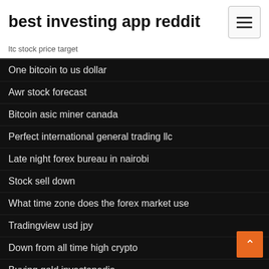best investing app reddit
ltc stock price target
One bitcoin to us dollar
Awr stock forecast
Bitcoin asic miner canada
Perfect international general trading llc
Late night forex bureau in nairobi
Stock sell down
What time zone does the forex market use
Tradingview usd jpy
Down from all time high crypto
Buying gold investopedia